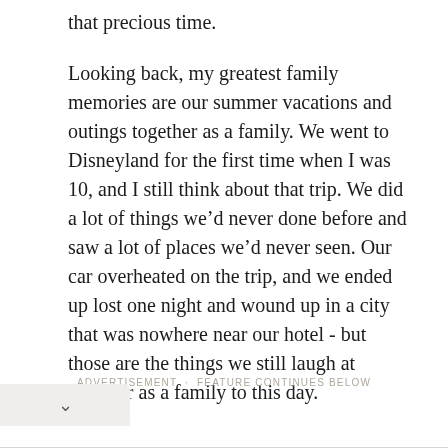that precious time.
Looking back, my greatest family memories are our summer vacations and outings together as a family. We went to Disneyland for the first time when I was 10, and I still think about that trip. We did a lot of things we’d never done before and saw a lot of places we’d never seen. Our car overheated on the trip, and we ended up lost one night and wound up in a city that was nowhere near our hotel - but those are the things we still laugh at together as a family to this day.
ADVERTISEMENT · FEATURE CONTINUES BELOW